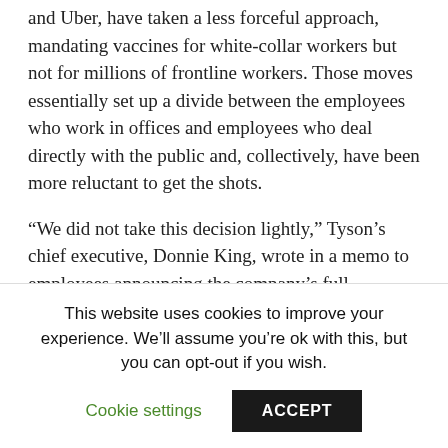and Uber, have taken a less forceful approach, mandating vaccines for white-collar workers but not for millions of frontline workers. Those moves essentially set up a divide between the employees who work in offices and employees who deal directly with the public and, collectively, have been more reluctant to get the shots.
“We did not take this decision lightly,” Tyson’s chief executive, Donnie King, wrote in a memo to employees announcing the company’s full mandate. “We have spent months encouraging our team members to get vaccinated… today, under
This website uses cookies to improve your experience. We’ll assume you’re ok with this, but you can opt-out if you wish.
Cookie settings
ACCEPT